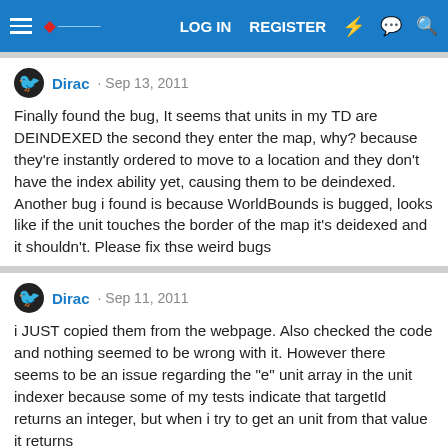LOG IN  REGISTER
Dirac · Sep 13, 2011

Finally found the bug, It seems that units in my TD are DEINDEXED the second they enter the map, why? because they're instantly ordered to move to a location and they don't have the index ability yet, causing them to be deindexed. Another bug i found is because WorldBounds is bugged, looks like if the unit touches the border of the map it's deidexed and it shouldn't. Please fix thse weird bugs
Dirac · Sep 11, 2011

i JUST copied them from the webpage. Also checked the code and nothing seemed to be wrong with it. However there seems to be an issue regarding the "e" unit array in the unit indexer because some of my tests indicate that targetId returns an integer, but when i try to get an unit from that value it returns